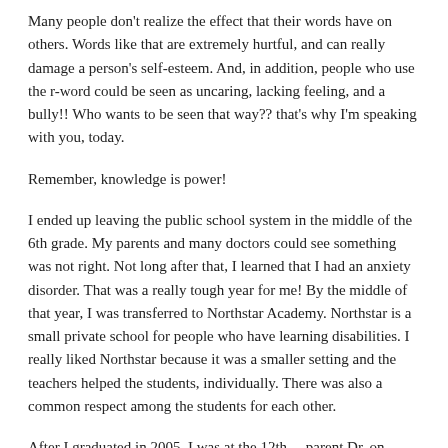Many people don't realize the effect that their words have on others. Words like that are extremely hurtful, and can really damage a person's self-esteem. And, in addition, people who use the r-word could be seen as uncaring, lacking feeling, and a bully!! Who wants to be seen that way?? that's why I'm speaking with you, today.
Remember, knowledge is power!
I ended up leaving the public school system in the middle of the 6th grade. My parents and many doctors could see something was not right. Not long after that, I learned that I had an anxiety disorder. That was a really tough year for me! By the middle of that year, I was transferred to Northstar Academy. Northstar is a small private school for people who have learning disabilities. I really liked Northstar because it was a smaller setting and the teachers helped the students, individually. There was also a common respect among the students for each other.
After I graduated in 2005, I was at the 12th… parent Dr. on football…